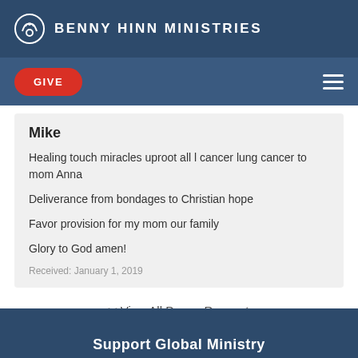BENNY HINN MINISTRIES
GIVE
Mike
Healing touch miracles uproot all l cancer lung cancer to mom Anna
Deliverance from bondages to Christian hope
Favor provision for my mom our family
Glory to God amen!
Received: January 1, 2019
<< View All Prayer Requests
Support Global Ministry